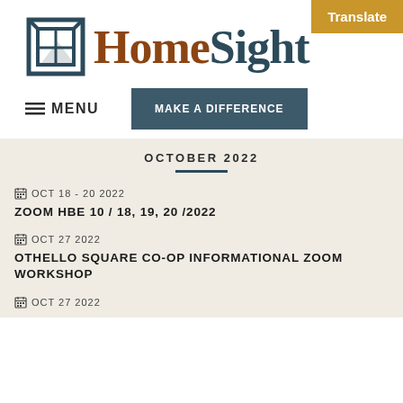[Figure (logo): HomeSight logo with house icon and text]
Translate
≡ MENU
MAKE A DIFFERENCE
OCTOBER 2022
OCT 18 - 20 2022
ZOOM HBE 10 / 18, 19, 20 /2022
OCT 27 2022
OTHELLO SQUARE CO-OP INFORMATIONAL ZOOM WORKSHOP
OCT 27 2022